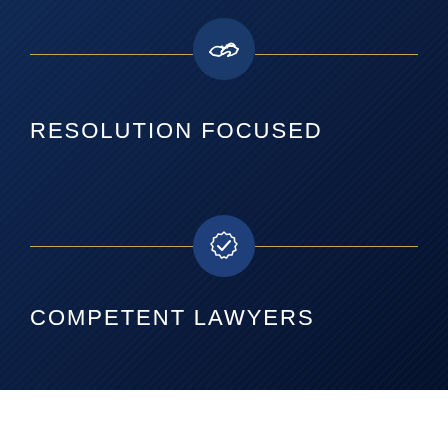[Figure (illustration): Dark navy blue background with diagonal texture lines suggesting an office/legal setting]
[Figure (illustration): Circular icon with handshake symbol on dark navy circle, flanked by gold horizontal divider lines]
RESOLUTION FOCUSED
[Figure (illustration): Circular icon with badge/checkmark seal symbol on dark navy circle, flanked by gold horizontal divider lines]
COMPETENT LAWYERS